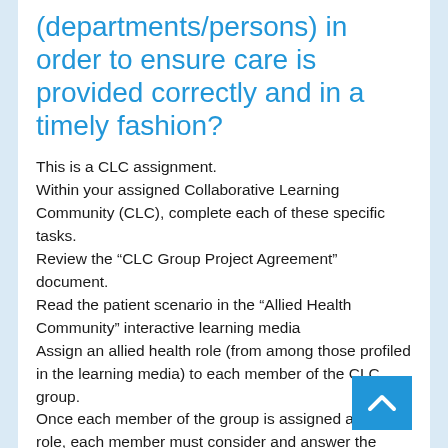(departments/persons) in order to ensure care is provided correctly and in a timely fashion?
This is a CLC assignment.
Within your assigned Collaborative Learning Community (CLC), complete each of these specific tasks.
Review the “CLC Group Project Agreement” document.
Read the patient scenario in the “Allied Health Community” interactive learning media
Assign an allied health role (from among those profiled in the learning media) to each member of the CLC group.
Once each member of the group is assigned an health role, each member must consider and answer the following Key Questions from the perspective of